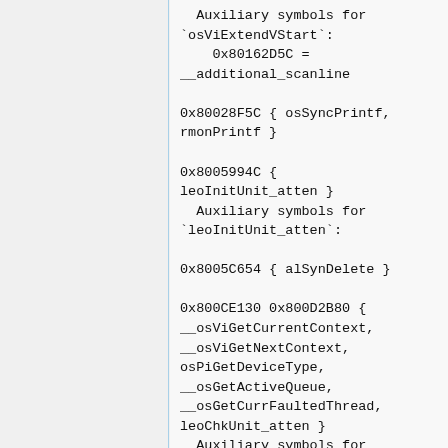Auxiliary symbols for
`osViExtendVStart`:
    0x80162D5C =
__additional_scanline

0x80028F5C { osSyncPrintf,
rmonPrintf }

0x8005994C {
leoInitUnit_atten }
  Auxiliary symbols for
`leoInitUnit_atten`:

0x8005C654 { alSynDelete }

0x800CE130 0x800D2B80 {
__osViGetCurrentContext,
__osViGetNextContext,
osPiGetDeviceType,
__osGetActiveQueue,
__osGetCurrFaultedThread,
leoChkUnit_atten }
  Auxiliary symbols for
`__osViGetCurrentContext`:
    0x800EB3AC =